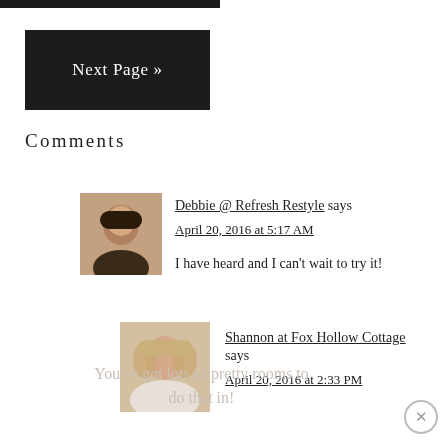[Figure (other): Dark top bar / image partial at top of page]
[Figure (other): Next Page button — dark/black rectangular button with white text 'Next Page »']
Comments
[Figure (photo): Avatar photo of Debbie - woman with dark short hair]
Debbie @ Refresh Restyle says
April 20, 2016 at 5:17 AM

I have heard and I can't wait to try it!
[Figure (photo): Avatar photo of Shannon - woman with blonde hair]
Shannon at Fox Hollow Cottage says
April 20, 2016 at 2:33 PM
You've got lots of pretty rooms to do that in!